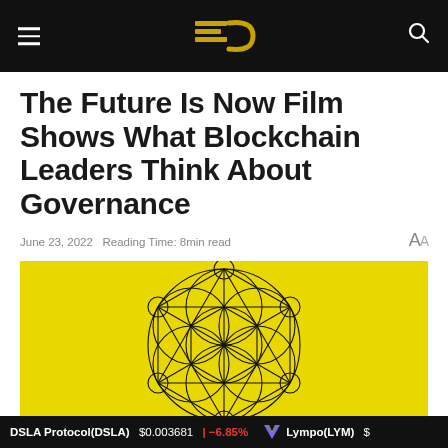EC logo with navigation bar
The Future Is Now Film Shows What Blockchain Leaders Think About Governance
June 23, 2022   Reading Time: 8min read
[Figure (illustration): Yellow background with Metatron's Cube / sacred geometry black line art illustration]
DSLA Protocol(DSLA)  $0.003681  -6.85%  Lympo(LYM)  $